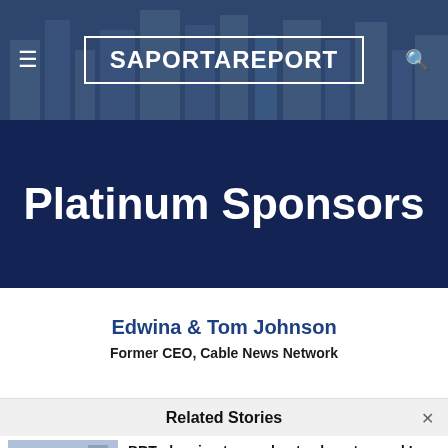SaportaReport
Platinum Sponsors
Edwina & Tom Johnson
Former CEO, Cable News Network
Related Stories
BRT planning to accelerate along top-end I-285